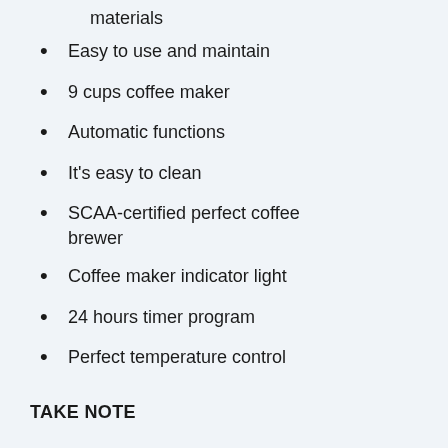materials
Easy to use and maintain
9 cups coffee maker
Automatic functions
It's easy to clean
SCAA-certified perfect coffee brewer
Coffee maker indicator light
24 hours timer program
Perfect temperature control
TAKE NOTE